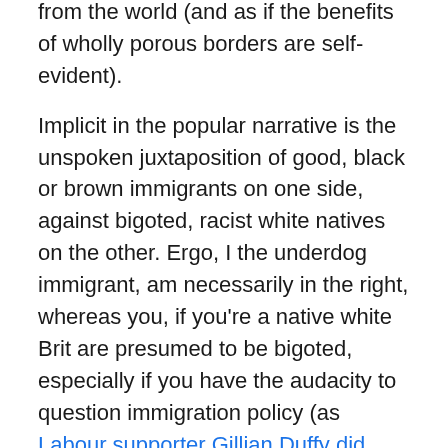from the world (and as if the benefits of wholly porous borders are self-evident).
Implicit in the popular narrative is the unspoken juxtaposition of good, black or brown immigrants on one side, against bigoted, racist white natives on the other. Ergo, I the underdog immigrant, am necessarily in the right, whereas you, if you're a native white Brit are presumed to be bigoted, especially if you have the audacity to question immigration policy (as Labour supporter Gillian Duffy did with Gordon Brown in 2010).
Reality is more nuanced. I have lived far longer in England than I ever did in my native Malaysia, and I reject the above caricatures. 17.4 million people – 52% of Referendum voters – chose to leave the EU. The majority of this country is not racist. On the contrary, I have found England to be...